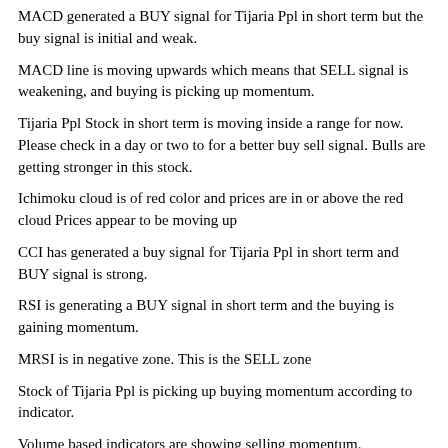MACD generated a BUY signal for Tijaria Ppl in short term but the buy signal is initial and weak.
MACD line is moving upwards which means that SELL signal is weakening, and buying is picking up momentum.
Tijaria Ppl Stock in short term is moving inside a range for now. Please check in a day or two to for a better buy sell signal. Bulls are getting stronger in this stock.
Ichimoku cloud is of red color and prices are in or above the red cloud Prices appear to be moving up
CCI has generated a buy signal for Tijaria Ppl in short term and BUY signal is strong.
RSI is generating a BUY signal in short term and the buying is gaining momentum.
MRSI is in negative zone. This is the SELL zone
Stock of Tijaria Ppl is picking up buying momentum according to indicator.
Volume based indicators are showing selling momentum.
Volume Weighted Averaged Price (VWAP) for short term is 6.31 and Tijaria Ppl (TijariaPpl) stock is trading above this level. This is a good sign for the stock and it could move